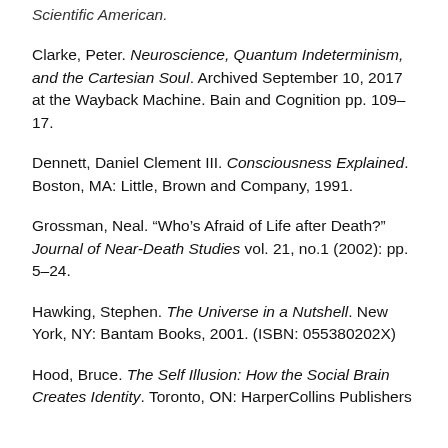Scientific American.
Clarke, Peter. Neuroscience, Quantum Indeterminism, and the Cartesian Soul. Archived September 10, 2017 at the Wayback Machine. Bain and Cognition pp. 109–17.
Dennett, Daniel Clement III. Consciousness Explained. Boston, MA: Little, Brown and Company, 1991.
Grossman, Neal. “Who’s Afraid of Life after Death?” Journal of Near-Death Studies vol. 21, no.1 (2002): pp. 5–24.
Hawking, Stephen. The Universe in a Nutshell. New York, NY: Bantam Books, 2001. (ISBN: 055380202X)
Hood, Bruce. The Self Illusion: How the Social Brain Creates Identity. Toronto, ON: HarperCollins Publishers